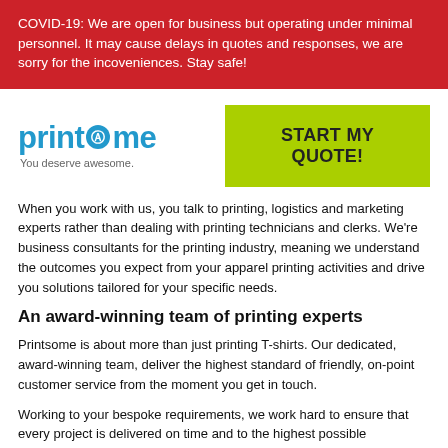COVID-19: We are open for business but operating under minimal personnel. It may cause delays in quotes and responses, we are sorry for the incoveniences. Stay safe!
[Figure (logo): Printsome logo with tagline 'You deserve awesome.']
START MY QUOTE!
When you work with us, you talk to printing, logistics and marketing experts rather than dealing with printing technicians and clerks. We're business consultants for the printing industry, meaning we understand the outcomes you expect from your apparel printing activities and drive you solutions tailored for your specific needs.
An award-winning team of printing experts
Printsome is about more than just printing T-shirts. Our dedicated, award-winning team, deliver the highest standard of friendly, on-point customer service from the moment you get in touch.
Working to your bespoke requirements, we work hard to ensure that every project is delivered on time and to the highest possible